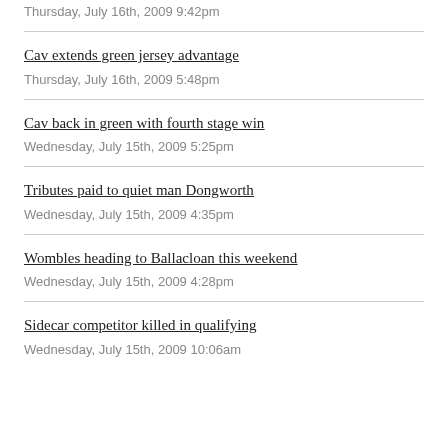Thursday, July 16th, 2009 9:42pm
Cav extends green jersey advantage
Thursday, July 16th, 2009 5:48pm
Cav back in green with fourth stage win
Wednesday, July 15th, 2009 5:25pm
Tributes paid to quiet man Dongworth
Wednesday, July 15th, 2009 4:35pm
Wombles heading to Ballacloan this weekend
Wednesday, July 15th, 2009 4:28pm
Sidecar competitor killed in qualifying
Wednesday, July 15th, 2009 10:06am